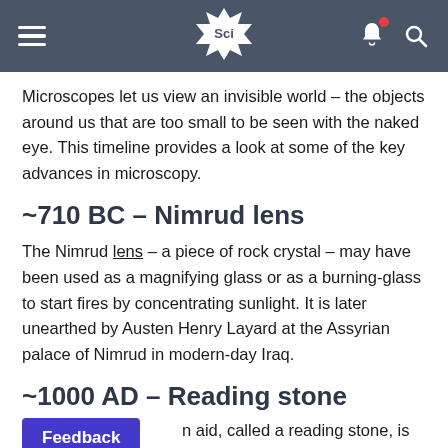Sci
Microscopes let us view an invisible world – the objects around us that are too small to be seen with the naked eye. This timeline provides a look at some of the key advances in microscopy.
~710 BC – Nimrud lens
The Nimrud lens – a piece of rock crystal – may have been used as a magnifying glass or as a burning-glass to start fires by concentrating sunlight. It is later unearthed by Austen Henry Layard at the Assyrian palace of Nimrud in modern-day Iraq.
~1000 AD – Reading stone
n aid, called a reading stone, is